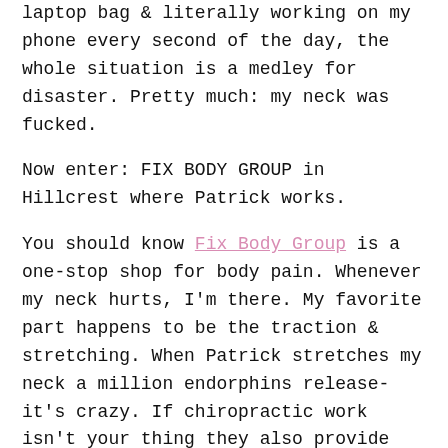laptop bag & literally working on my phone every second of the day, the whole situation is a medley for disaster. Pretty much: my neck was fucked.
Now enter: FIX BODY GROUP in Hillcrest where Patrick works.
You should know Fix Body Group is a one-stop shop for body pain. Whenever my neck hurts, I'm there. My favorite part happens to be the traction & stretching. When Patrick stretches my neck a million endorphins release- it's crazy. If chiropractic work isn't your thing they also provide massage services, acupuncture,